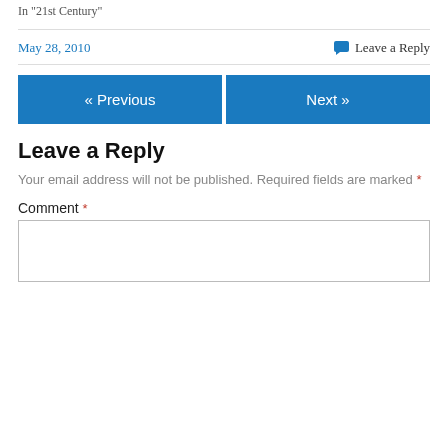In "21st Century"
May 28, 2010   💬 Leave a Reply
« Previous   Next »
Leave a Reply
Your email address will not be published. Required fields are marked *
Comment *